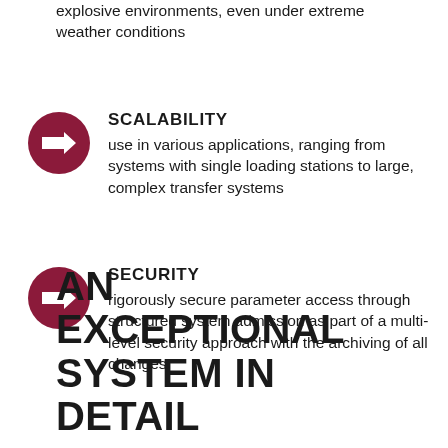explosive environments, even under extreme weather conditions
SCALABILITY
use in various applications, ranging from systems with single loading stations to large, complex transfer systems
SECURITY
rigorously secure parameter access through structured system admission as part of a multi-level security approach with the archiving of all changes
AN EXCEPTIONAL SYSTEM IN DETAIL